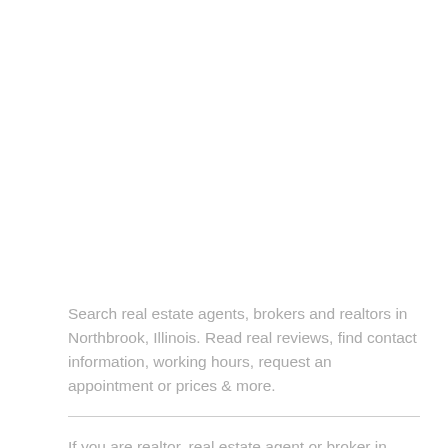Search real estate agents, brokers and realtors in Northbrook, Illinois. Read real reviews, find contact information, working hours, request an appointment or prices & more.
If you are realtor, real estate agent or broker in